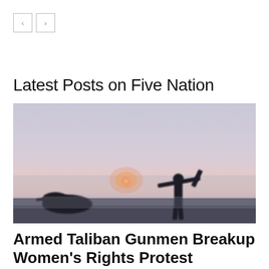< >
Latest Posts on Five Nation
[Figure (photo): Silhouette of a soldier carrying a rocket launcher on shoulder, with another figure or vehicle in the background, set against a hazy sunset sky with a glowing orange sun near the horizon.]
Armed Taliban Gunmen Breakup Women's Rights Protest